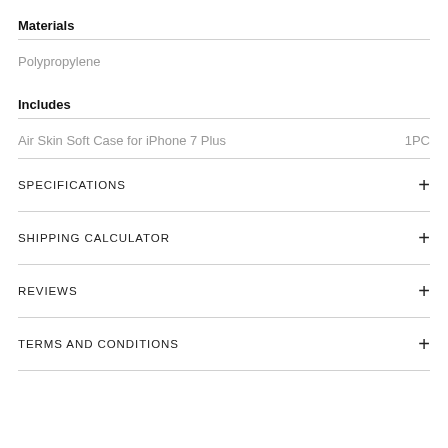Materials
Polypropylene
Includes
Air Skin Soft Case for iPhone 7 Plus    1PC
SPECIFICATIONS +
SHIPPING CALCULATOR +
REVIEWS +
TERMS AND CONDITIONS +